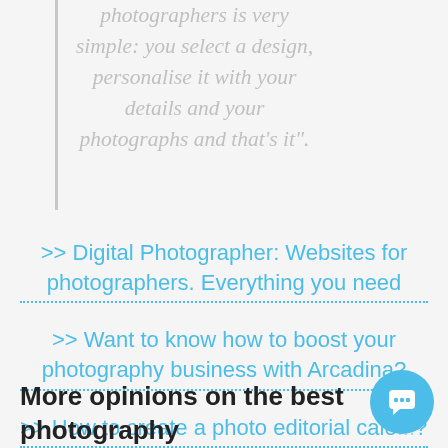photographers is very simple: you select a design, personalise it with your details and your photographs and that's it".
>> Digital Photographer: Websites for photographers. Everything you need
>> Want to know how to boost your photography business with Arcadina?
>> How to create a photo editorial cale...?
More opinions on the best photography